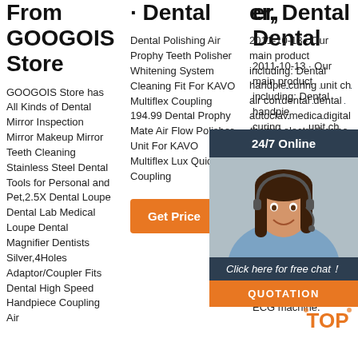From GOOGOIS Store
GOOGOIS Store has All Kinds of Dental Mirror Inspection Mirror Makeup Mirror Teeth Cleaning Stainless Steel Dental Tools for Personal and Pet,2.5X Dental Loupe Dental Lab Medical Loupe Dental Magnifier Dentists Silver,4Holes Adaptor/Coupler Fits Dental High Speed Handpiece Coupling Air
· Dental
Dental Polishing Air Prophy Teeth Polisher Whitening System Cleaning Fit For KAVO Multiflex Coupling 194.99 Dental Prophy Mate Air Flow Polisher Unit For KAVO Multiflex Lux Quick Coupling
Get Price
er, Dental
2011-10-13 · Our main product including: Dental handpieces, dental curing light, dental unit chair, dental air compressor, dental scaler, dental autoclave, dental medical equipment, digital thermometer, electronic thermometer, blood-pressure meter, sphygmomanometer, fingertip oximeters, ECG machine.
[Figure (illustration): Chat widget overlay with dark header '24/7 Online', photo of a woman with headset, dark 'Click here for free chat!' text, and orange QUOTATION button]
[Figure (logo): TOP logo in orange with decorative dots]